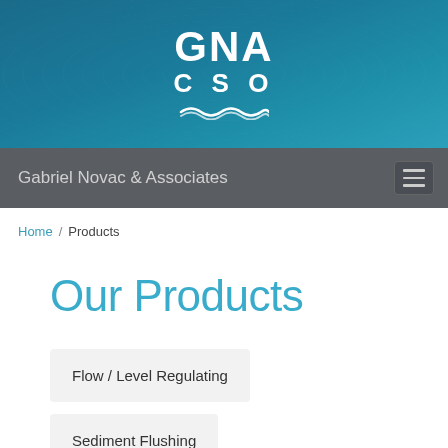[Figure (logo): GNA CSO logo — white bold letters on teal/blue gradient banner with wave graphic]
Gabriel Novac & Associates
Home / Products
Our Products
Flow / Level Regulating
Sediment Flushing
Screening
Sewer Management